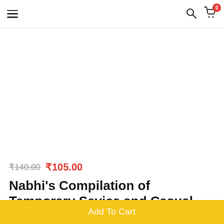Navigation header with hamburger menu, search icon, and cart icon (0 items)
[Figure (photo): Product image area (white/blank background - book cover not visible)]
₹140.00 ₹105.00
Nabhi's Compilation of Temporary Sevice and Casual Labour Rules
Add To Cart